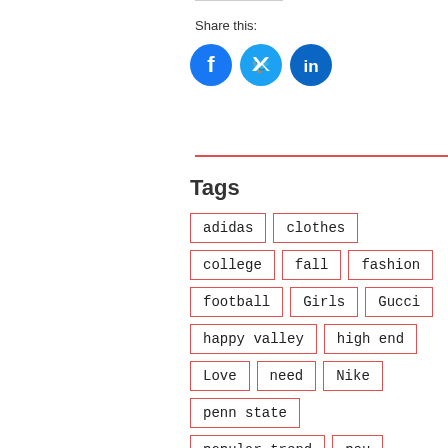Share this:
[Figure (illustration): Social share buttons: Facebook (blue circle with f), Twitter (light blue circle with bird), LinkedIn (dark blue circle with in)]
Tags
adidas
clothes
college
fall
fashion
football
Girls
Gucci
happy valley
high end
Love
need
Nike
penn state
popular trend
psu
puma